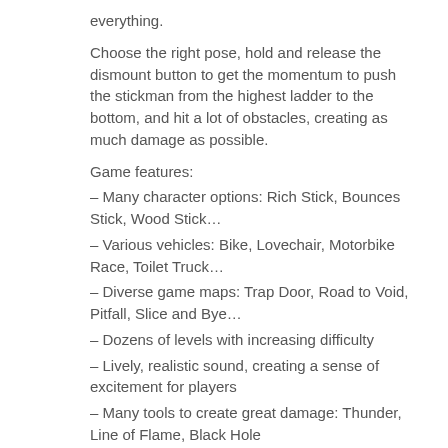everything.
Choose the right pose, hold and release the dismount button to get the momentum to push the stickman from the highest ladder to the bottom, and hit a lot of obstacles, creating as much damage as possible.
Game features:
– Many character options: Rich Stick, Bounces Stick, Wood Stick…
– Various vehicles: Bike, Lovechair, Motorbike Race, Toilet Truck…
– Diverse game maps: Trap Door, Road to Void, Pitfall, Slice and Bye…
– Dozens of levels with increasing difficulty
– Lively, realistic sound, creating a sense of excitement for players
– Many tools to create great damage: Thunder, Line of Flame, Black Hole
– Daily missions